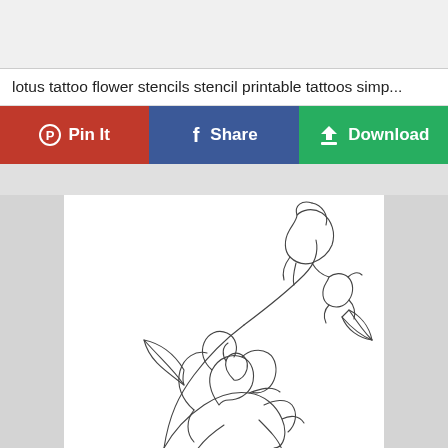[Figure (other): Gray top bar area (header background)]
lotus tattoo flower stencils stencil printable tattoos simp...
[Figure (other): Three action buttons: Pin It (red/Pinterest), Share (blue/Facebook), Download (green)]
[Figure (illustration): Line drawing illustration of roses with leaves on a light gray background with white center panel]